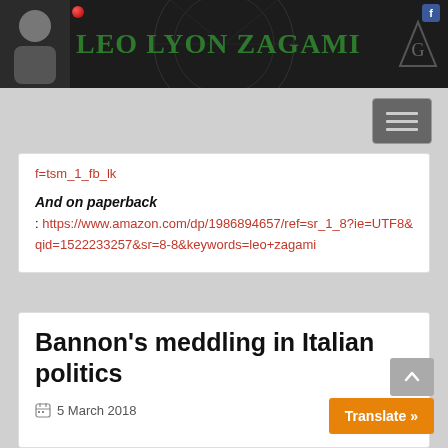LEO LYON ZAGAMI
f=tsm_1_fb_lk
And on paperback
: https://www.amazon.com/dp/1986894657/ref=sr_1_8?ie=UTF8&qid=1522233257&sr=8-8&keywords=leo+zagami
Bannon’s meddling in Italian politics
5 March 2018